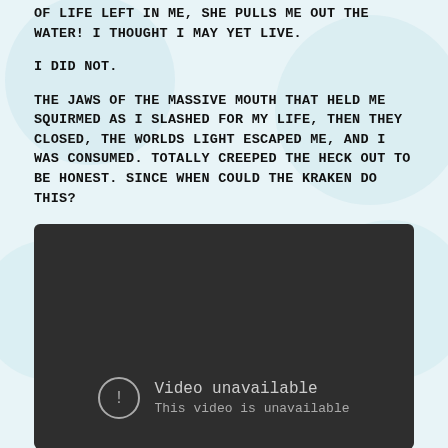OF LIFE LEFT IN ME, SHE PULLS ME OUT THE WATER! I THOUGHT I MAY YET LIVE.
I DID NOT.
THE JAWS OF THE MASSIVE MOUTH THAT HELD ME SQUIRMED AS I SLASHED FOR MY LIFE, THEN THEY CLOSED, THE WORLDS LIGHT ESCAPED ME, AND I WAS CONSUMED. TOTALLY CREEPED THE HECK OUT TO BE HONEST. SINCE WHEN COULD THE KRAKEN DO THIS?
[Figure (screenshot): Embedded video player showing 'Video unavailable — This video is unavailable' error screen with dark background and a circle-exclamation icon.]